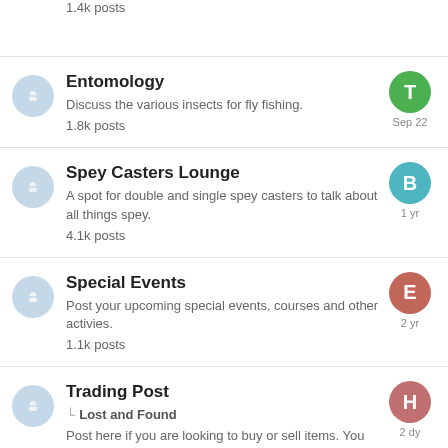1.4k posts
Entomology
Discuss the various insects for fly fishing.
1.8k posts
Sep 22
Spey Casters Lounge
A spot for double and single spey casters to talk about all things spey.
4.1k posts
1 yr
Special Events
Post your upcoming special events, courses and other activies.
1.1k posts
2 yr
Trading Post
Lost and Found
Post here if you are looking to buy or sell items. You
2 dy